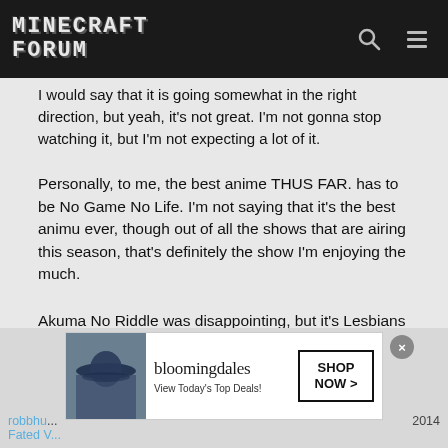Minecraft Forum
I would say that it is going somewhat in the right direction, but yeah, it's not great. I'm not gonna stop watching it, but I'm not expecting a lot of it.
Personally, to me, the best anime THUS FAR. has to be No Game No Life. I'm not saying that it's the best animu ever, though out of all the shows that are airing this season, that's definitely the show I'm enjoying the much.
Akuma No Riddle was disappointing, but it's Lesbians + Fighting, you just kind of have to keep on watching.
By the way, what order should the Monologuegatari series be watched? I am guessing the release order, but just for convenience, I felt like asking it here since Govna can't stop talking about it.
Posted in: Culture, Media & Arts
[Figure (other): Bloomingdale's advertisement banner with model in hat and Shop Now button]
robbhu... 2014 Fated V...